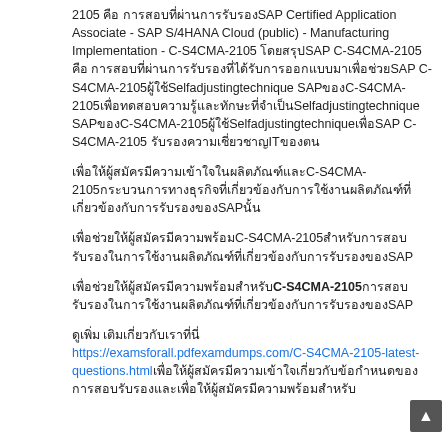2105 คือ การสอบที่ผ่านการรับรองSAP Certified Application Associate - SAP S/4HANA Cloud (public) - Manufacturing Implementation - C-S4CMA-2105 โดยสรุปSAP C-S4CMA-2105 คือ การสอบที่ผ่านการรับรองที่ได้รับการออกแบบมาเพื่อช่วยSAP C-S4CMA-2105ผู้ใช้Selfadjustingtechnique SAPของC-S4CMA-2105เพื่อทดสอบความรู้และทักษะที่จำเป็นSelfadjustingtechnique SAPของC-S4CMA-2105ผู้ใช้Selfadjustingtechniqueเพื่อSAP C-S4CMA-2105 รับรองความเชี่ยวชาญITของตน
เพื่อให้ผู้สมัครมีความเข้าใจในผลิตภัณฑ์และC-S4CMA-2105กระบวนการทางธุรกิจที่เกี่ยวข้องกับการใช้งานผลิตภัณฑ์ที่เกี่ยวข้องกับการรับรองของSAPนั้น
เพื่อช่วยให้ผู้สมัครมีความพร้อมC-S4CMA-2105สำหรับการสอบรับรองในการใช้งานผลิตภัณฑ์ที่เกี่ยวข้องกับการรับรองของSAP
เพื่อช่วยให้ผู้สมัครมีความพร้อมสำหรับC-S4CMA-2105การสอบรับรองในการใช้งานผลิตภัณฑ์ที่เกี่ยวข้องกับการรับรองของSAP
ดูเพิ่ม เติมเกี่ยวกับเราที่นี่ https://examsforall.pdfexamdumps.com/C-S4CMA-2105-latest-questions.html เพื่อให้ผู้สมัครมีความเข้าใจเกี่ยวกับข้อกำหนดของการสอบรับรองและเพื่อให้ผู้สมัครมีความพร้อมสำหรับ